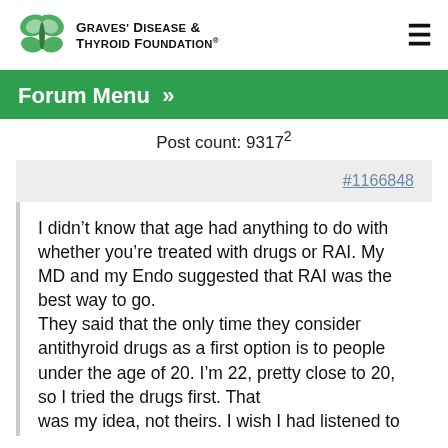[Figure (logo): Graves' Disease & Thyroid Foundation logo with butterfly icon]
Forum Menu »
Post count: 9317 2
#1166848
I didn't know that age had anything to do with whether you're treated with drugs or RAI. My MD and my Endo suggested that RAI was the best way to go.
They said that the only time they consider antithyroid drugs as a first option is to people under the age of 20. I'm 22, pretty close to 20, so I tried the drugs first. That
was my idea, not theirs. I wish I had listened to them in the first place, though. Maybe I wouldn't be feeling like I